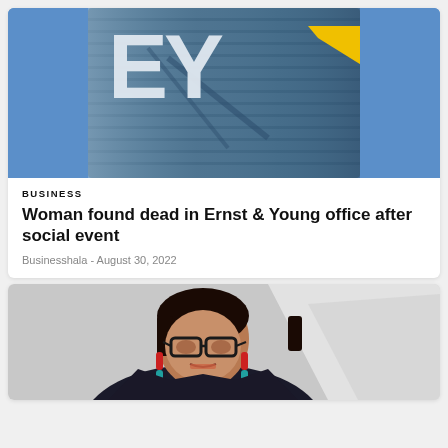[Figure (photo): EY (Ernst & Young) building exterior with large 'EY' lettering and yellow logo on glass skyscraper against blue sky]
BUSINESS
Woman found dead in Ernst & Young office after social event
Businesshala - August 30, 2022
[Figure (photo): Woman with dark hair, glasses, and colorful earrings speaking at a podium or event]